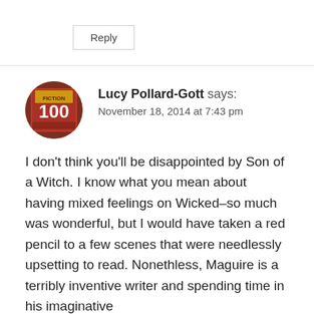Reply
Lucy Pollard-Gott says:
November 18, 2014 at 7:43 pm
I don't think you'll be disappointed by Son of a Witch. I know what you mean about having mixed feelings on Wicked–so much was wonderful, but I would have taken a red pencil to a few scenes that were needlessly upsetting to read. Nonethless, Maguire is a terribly inventive writer and spending time in his imaginative